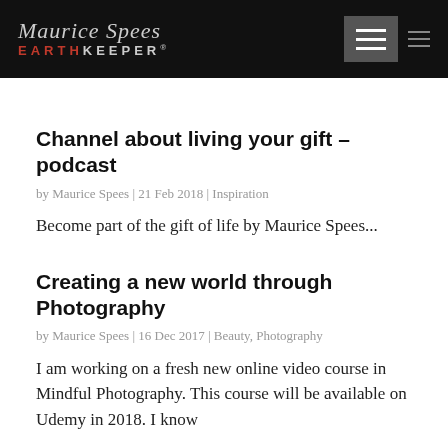Maurice Spees EARTHKEEPER
Channel about living your gift – podcast
by Maurice Spees | 21 Feb 2018 | Inspiration
Become part of the gift of life by Maurice Spees...
Creating a new world through Photography
by Maurice Spees | 16 Dec 2017 | Beauty, Photography
I am working on a fresh new online video course in Mindful Photography. This course will be available on Udemy in 2018. I know